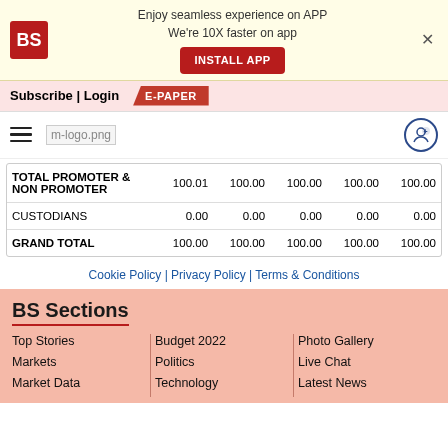[Figure (screenshot): Business Standard app install banner with BS logo, text 'Enjoy seamless experience on APP We're 10X faster on app', INSTALL APP button, and close X]
Subscribe | Login  E-PAPER
[Figure (logo): Hamburger menu icon, m-logo.png image, and user icon]
|  |  |  |  |  |  |
| --- | --- | --- | --- | --- | --- |
| TOTAL PROMOTER & NON PROMOTER | 100.01 | 100.00 | 100.00 | 100.00 | 100.00 |
| CUSTODIANS | 0.00 | 0.00 | 0.00 | 0.00 | 0.00 |
| GRAND TOTAL | 100.00 | 100.00 | 100.00 | 100.00 | 100.00 |
Cookie Policy | Privacy Policy | Terms & Conditions
BS Sections
Top Stories
Budget 2022
Photo Gallery
Markets
Politics
Live Chat
Market Data
Technology
Latest News